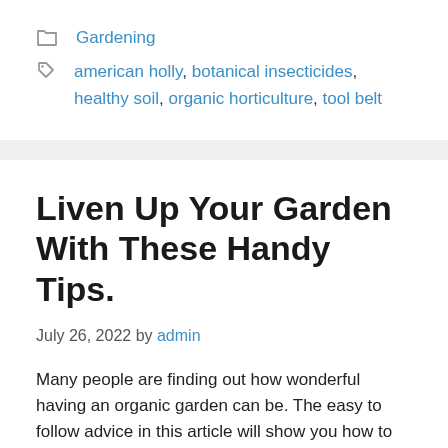Gardening
american holly, botanical insecticides, healthy soil, organic horticulture, tool belt
Liven Up Your Garden With These Handy Tips.
July 26, 2022 by admin
Many people are finding out how wonderful having an organic garden can be. The easy to follow advice in this article will show you how to get off to a great start. Just follow